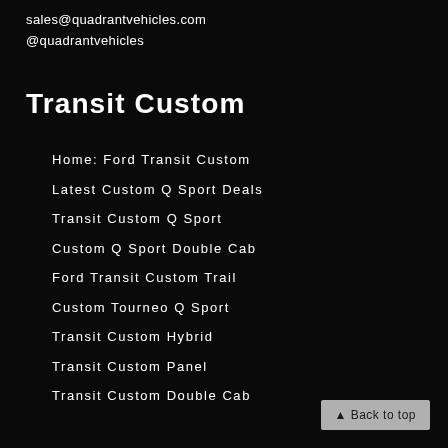sales@quadrantvehicles.com
@quadrantvehicles
Transit Custom
Home: Ford Transit Custom
Latest Custom Q Sport Deals
Transit Custom Q Sport
Custom Q Sport Double Cab
Ford Transit Custom Trail
Custom Tourneo Q Sport
Transit Custom Hybrid
Transit Custom Panel
Transit Custom Double Cab
▲ Back to top